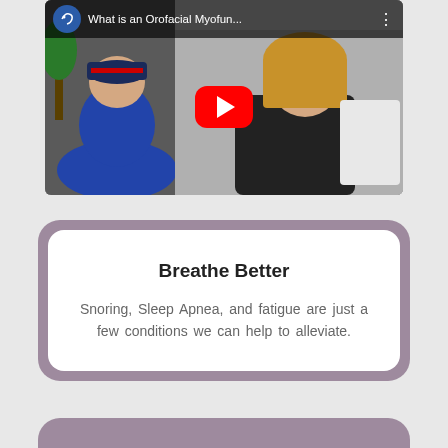[Figure (screenshot): YouTube video thumbnail showing a child with a backwards cap facing away from camera and a woman in black holding a white board, with YouTube play button overlay and title 'What is an Orofacial Myofun...']
Breathe Better
Snoring, Sleep Apnea, and fatigue are just a few conditions we can help to alleviate.